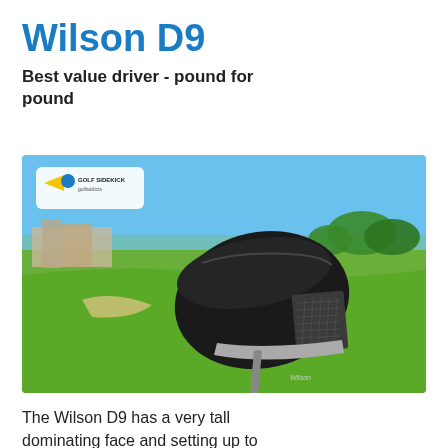Wilson D9
Best value driver - pound for pound
[Figure (photo): Wilson D9 driver golf club head shown on a golf course with green fairway and blue sky background. A Golf Sidekick logo watermark appears in the upper left corner of the image.]
The Wilson D9 has a very tall dominating face and setting up to